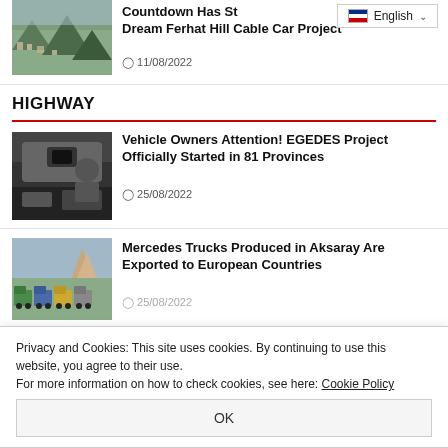[Figure (screenshot): Language selector button showing English with flag and dropdown chevron]
[Figure (photo): Aerial view of a hillside city for Ferhat Hill Cable Car Project article]
Countdown Has Started for Dream Ferhat Hill Cable Car Project
11/08/2022
HIGHWAY
[Figure (photo): Person near a vehicle, related to EGEDES Project article]
Vehicle Owners Attention! EGEDES Project Officially Started in 81 Provinces
25/08/2022
[Figure (photo): Row of colorful Mercedes trucks in a landscape, Aksaray production]
Mercedes Trucks Produced in Aksaray Are Exported to European Countries
25/08/2022
Privacy and Cookies: This site uses cookies. By continuing to use this website, you agree to their use.
For more information on how to check cookies, see here: Cookie Policy